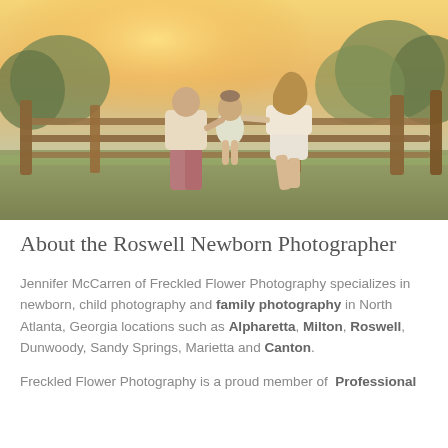[Figure (photo): A family of three — a man, a young child sitting on a fence, and a woman — viewed from behind, standing at a wooden fence at golden hour sunset. Trees and warm sky visible in background. Outdoors in a rural/farm setting.]
About the Roswell Newborn Photographer
Jennifer McCarren of Freckled Flower Photography specializes in newborn, child photography and family photography in North Atlanta, Georgia locations such as Alpharetta, Milton, Roswell, Dunwoody, Sandy Springs, Marietta and Canton.
Freckled Flower Photography is a proud member of  Professional